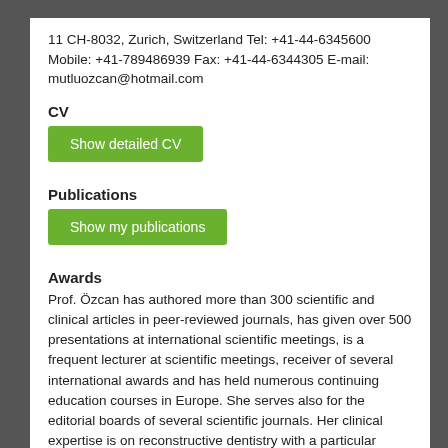11 CH-8032, Zurich, Switzerland Tel: +41-44-6345600 Mobile: +41-789486939 Fax: +41-44-6344305 E-mail: mutluozcan@hotmail.com
CV
Show detailed CV
Publications
Show my publications
Awards
Prof. Özcan has authored more than 300 scientific and clinical articles in peer-reviewed journals, has given over 500 presentations at international scientific meetings, is a frequent lecturer at scientific meetings, receiver of several international awards and has held numerous continuing education courses in Europe. She serves also for the editorial boards of several scientific journals. Her clinical expertise is on reconstructive dentistry with a particular emphasis on adhesive applications.
She has also Visiting Professor positions at various